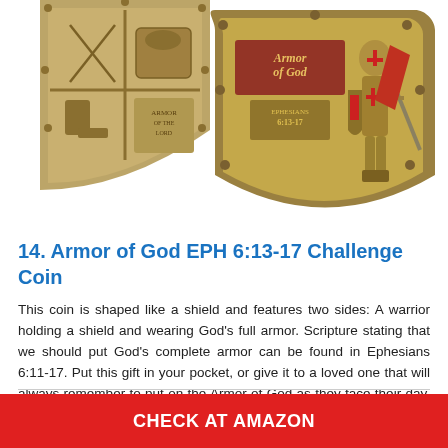[Figure (photo): Two shield-shaped challenge coins with bronze/gold finish. One shows the front with a Crusader knight in armor holding a sword and shield with 'Armor of God EPH 6:13-17' text. The other shows the back with a coat-of-arms style design featuring four quadrants with armor pieces.]
14. Armor of God EPH 6:13-17 Challenge Coin
This coin is shaped like a shield and features two sides: A warrior holding a shield and wearing God's full armor. Scripture stating that we should put God's complete armor can be found in Ephesians 6:11-17. Put this gift in your pocket, or give it to a loved one that will always remember to put on the Armor of God as they face their day. They will strengthen their faith with this reminder that God goes with them and protects them in battle.
CHECK AT AMAZON